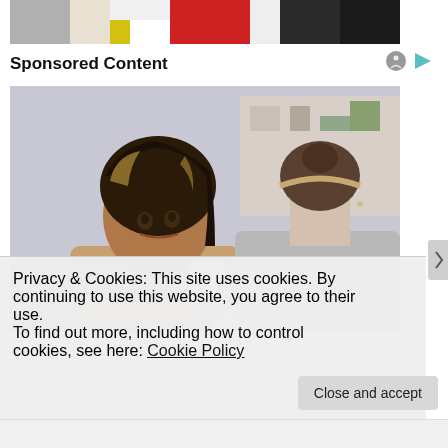[Figure (photo): Top partial photo showing colorful background with red and dark tones, cropped at top of page]
Sponsored Content
[Figure (photo): Two women in conversation: a Black woman with highlighted hair facing the camera (left) and a white woman with a headband seen from behind (right), in an indoor setting]
Privacy & Cookies: This site uses cookies. By continuing to use this website, you agree to their use.
To find out more, including how to control cookies, see here: Cookie Policy
Close and accept